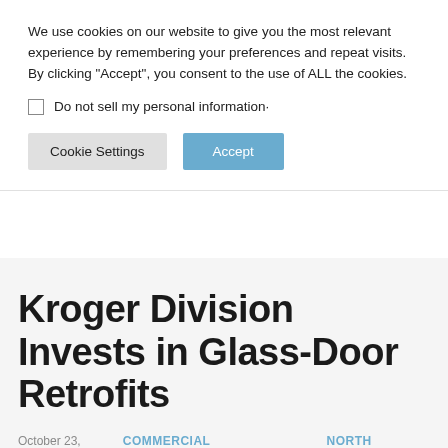We use cookies on our website to give you the most relevant experience by remembering your preferences and repeat visits. By clicking "Accept", you consent to the use of ALL the cookies.
Do not sell my personal information·
Cookie Settings
Accept
Kroger Division Invests in Glass-Door Retrofits
October 23, 2019   COMMERCIAL REFRIGERATION   NORTH AMERICA